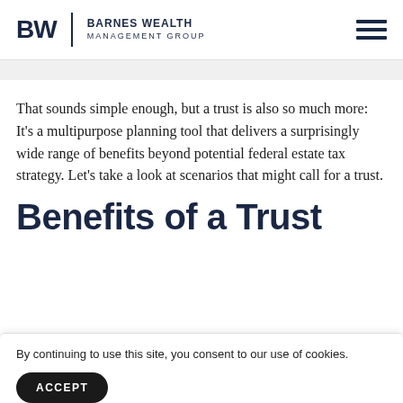BW | Barnes Wealth Management Group
That sounds simple enough, but a trust is also so much more: It's a multipurpose planning tool that delivers a surprisingly wide range of benefits beyond potential federal estate tax strategy. Let's take a look at scenarios that might call for a trust.
Benefits of a Trust
By continuing to use this site, you consent to our use of cookies.